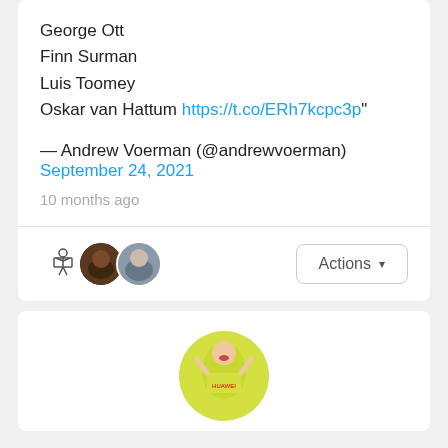George Ott
Finn Surman
Luis Toomey
Oskar van Hattum https://t.co/ERh7kcpc3p"
— Andrew Voerman (@andrewvoerman)
September 24, 2021
10 months ago
[Figure (photo): Three user avatars (stick figure emoji, dark-skinned man photo, light-skinned man photo) and an Actions dropdown button]
[Figure (photo): Large circular avatar showing a soccer player in yellow kit with hands on head, wearing a Huawei-sponsored shirt]